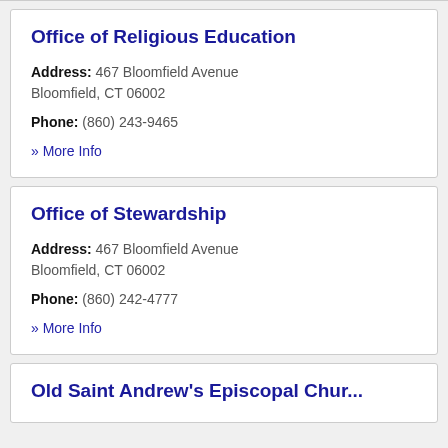Office of Religious Education
Address: 467 Bloomfield Avenue Bloomfield, CT 06002
Phone: (860) 243-9465
» More Info
Office of Stewardship
Address: 467 Bloomfield Avenue Bloomfield, CT 06002
Phone: (860) 242-4777
» More Info
Old Saint Andrew's Episcopal Church